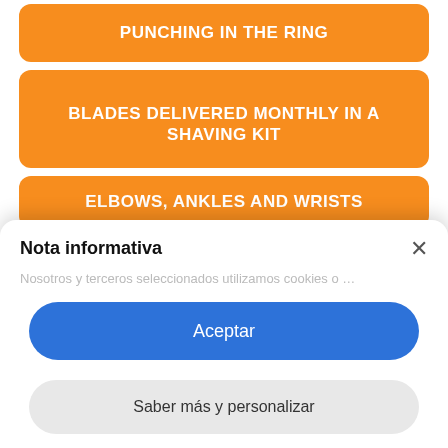PUNCHING IN THE RING
BLADES DELIVERED MONTHLY IN A SHAVING KIT
ELBOWS, ANKLES AND WRISTS
Puzzle 10
PEDAL VEHICLE WITH ONE SEAT ONE...
Nota informativa
Nosotros y terceros seleccionados utilizamos cookies o...
Aceptar
Saber más y personalizar